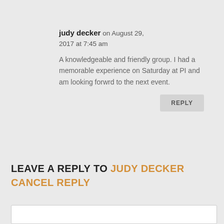judy decker on August 29, 2017 at 7:45 am
A knowledgeable and friendly group. I had a memorable experience on Saturday at PI and am looking forwrd to the next event.
REPLY
LEAVE A REPLY TO JUDY DECKER CANCEL REPLY